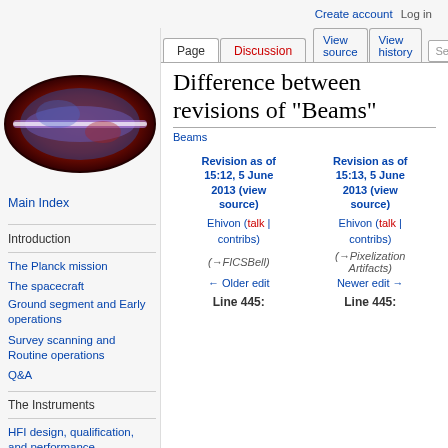Create account  Log in
[Figure (illustration): Planck mission galaxy/cosmic background radiation logo image — an oval/elliptical galaxy map in red, blue, and purple colors]
Main Index
Introduction
The Planck mission
The spacecraft
Ground segment and Early operations
Survey scanning and Routine operations
Q&A
The Instruments
HFI design, qualification, and performance
Difference between revisions of "Beams"
Beams
| Revision as of 15:12, 5 June 2013 (view source) | Revision as of 15:13, 5 June 2013 (view source) |
| --- | --- |
| Ehivon (talk | contribs) | Ehivon (talk | contribs) |
| (→FICSBell) | (→Pixelization Artifacts) |
| ← Older edit | Newer edit → |
| Line 445: | Line 445: |